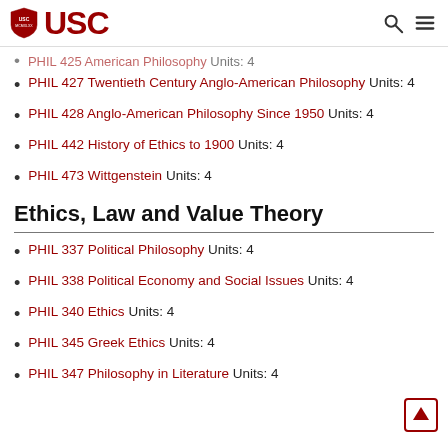USC
PHIL 425 American Philosophy Units: 4
PHIL 427 Twentieth Century Anglo-American Philosophy Units: 4
PHIL 428 Anglo-American Philosophy Since 1950 Units: 4
PHIL 442 History of Ethics to 1900 Units: 4
PHIL 473 Wittgenstein Units: 4
Ethics, Law and Value Theory
PHIL 337 Political Philosophy Units: 4
PHIL 338 Political Economy and Social Issues Units: 4
PHIL 340 Ethics Units: 4
PHIL 345 Greek Ethics Units: 4
PHIL 347 Philosophy in Literature Units: 4